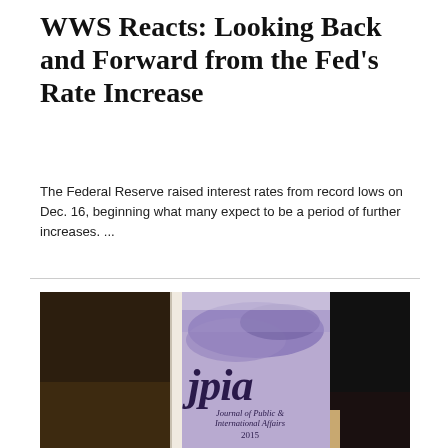WWS Reacts: Looking Back and Forward from the Fed's Rate Increase
The Federal Reserve raised interest rates from record lows on Dec. 16, beginning what many expect to be a period of further increases. ...
[Figure (photo): A photograph of the JPIA (Journal of Public & International Affairs) 2015 journal/book standing upright on a surface, showing its cover with purple/lavender colors, a world map silhouette design, and the italic 'jpia' logo text.]